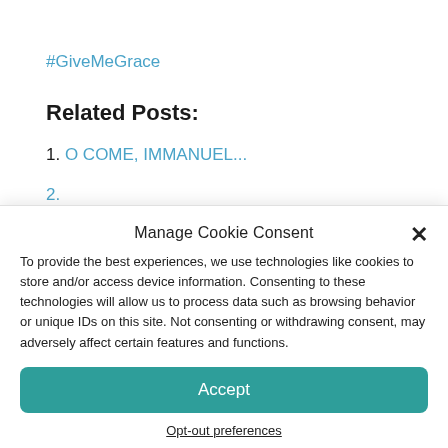#GiveMeGrace
Related Posts:
1. O COME, IMMANUEL...
2. [partially visible link]
Manage Cookie Consent
To provide the best experiences, we use technologies like cookies to store and/or access device information. Consenting to these technologies will allow us to process data such as browsing behavior or unique IDs on this site. Not consenting or withdrawing consent, may adversely affect certain features and functions.
Accept
Opt-out preferences